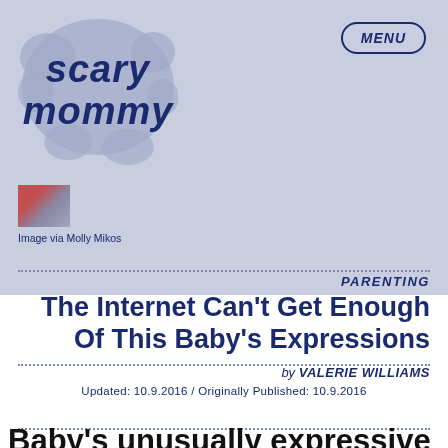[Figure (logo): Scary Mommy logo in grey-blue cloud/bubble lettering]
[Figure (photo): Small thumbnail image of a baby]
Image via Molly Mikos
MENU
PARENTING
The Internet Can't Get Enough Of This Baby's Expressions
by VALERIE WILLIAMS
Updated: 10.9.2016 / Originally Published: 10.9.2016
Baby's unusually expressive faces